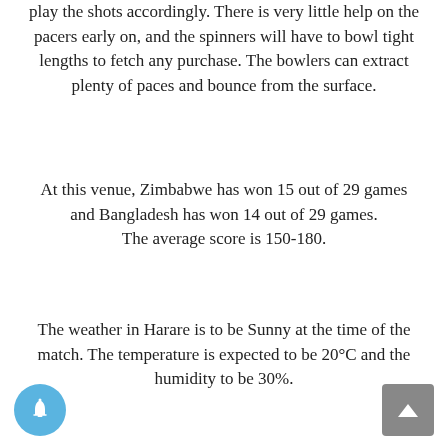play the shots accordingly. There is very little help on the pacers early on, and the spinners will have to bowl tight lengths to fetch any purchase. The bowlers can extract plenty of paces and bounce from the surface.
At this venue, Zimbabwe has won 15 out of 29 games and Bangladesh has won 14 out of 29 games. The average score is 150-180.
The weather in Harare is to be Sunny at the time of the match. The temperature is expected to be 20°C and the humidity to be 30%.